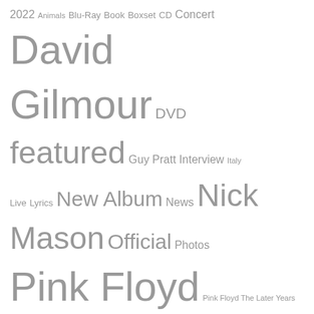[Figure (infographic): Tag cloud with Pink Floyd related tags in varying sizes. Tags include: 2022, Animals, Blu-Ray, Book, Boxset, CD, Concert, David Gilmour, DVD, featured, Guy Pratt, Interview, Italy, Live, Lyrics, New Album, News, Nick Mason, Official, Photos, Pink Floyd, Pink Floyd The Later Years 1987-2019, Polly Samson, Rattle That Lock, Richard Wright, Roger Waters, Saucerful of Secrets, Syd Barrett, The Endless River, The Wall, Tickets, Tour, Video, Vinyl]
| M | T | W | T | F | S | S |
| --- | --- | --- | --- | --- | --- | --- |
|  |  |  | 1 | 2 | 3 | 4 |
| 5 | 6 | 7 | 8 | 9 | 10 | 11 |
| 12 | 13 | 14 | 15 | 16 | 17 | 18 |
| 19 | 20 | 21 | 22 | 23 | 24 | 25 |